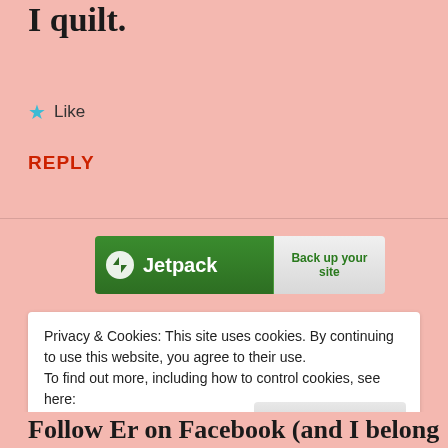I quilt.
★ Like
REPLY
[Figure (other): Jetpack advertisement banner with green background, Jetpack logo and text, and a 'Back up your site' button]
Privacy & Cookies: This site uses cookies. By continuing to use this website, you agree to their use.
To find out more, including how to control cookies, see here: Cookie Policy
Close and accept
Follow Er on Facebook (and I belong